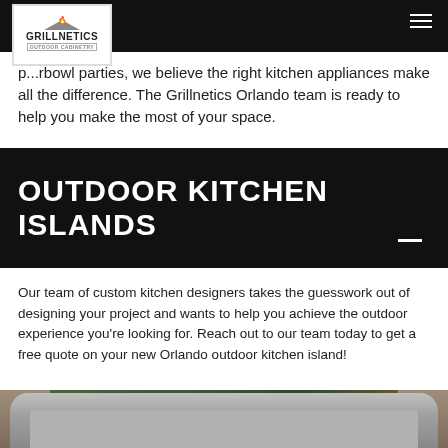[Figure (logo): Grillnetics Outdoor Cabinetry logo with house/flame icon]
p...rbowl parties, we believe the right kitchen appliances make all the difference. The Grillnetics Orlando team is ready to help you make the most of your space.
OUTDOOR KITCHEN ISLANDS
Our team of custom kitchen designers takes the guesswork out of designing your project and wants to help you achieve the outdoor experience you're looking for. Reach out to our team today to get a free quote on your new Orlando outdoor kitchen island!
[Figure (photo): Outdoor kitchen island with stainless steel grill, stone/masonry base, surrounded by green garden landscaping]